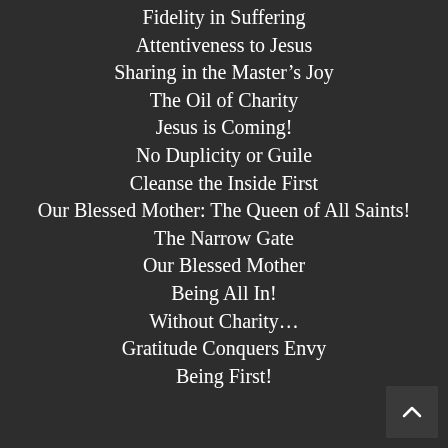Fidelity in Suffering
Attentiveness to Jesus
Sharing in the Master’s Joy
The Oil of Charity
Jesus is Coming!
No Duplicity or Guile
Cleanse the Inside First
Our Blessed Mother: The Queen of All Saints!
The Narrow Gate
Our Blessed Mother
Being All In!
Without Charity…
Gratitude Conquers Envy
Being First!